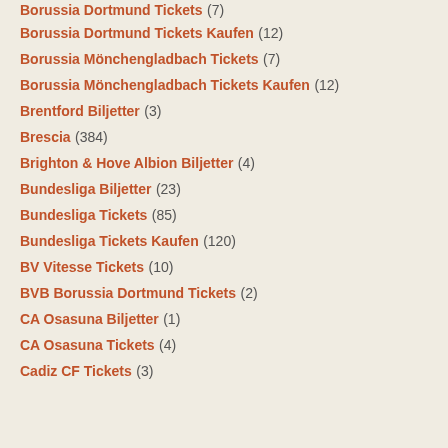Borussia Dortmund Tickets (7)
Borussia Dortmund Tickets Kaufen (12)
Borussia Mönchengladbach Tickets (7)
Borussia Mönchengladbach Tickets Kaufen (12)
Brentford Biljetter (3)
Brescia (384)
Brighton & Hove Albion Biljetter (4)
Bundesliga Biljetter (23)
Bundesliga Tickets (85)
Bundesliga Tickets Kaufen (120)
BV Vitesse Tickets (10)
BVB Borussia Dortmund Tickets (2)
CA Osasuna Biljetter (1)
CA Osasuna Tickets (4)
Cadiz CF Tickets (3)